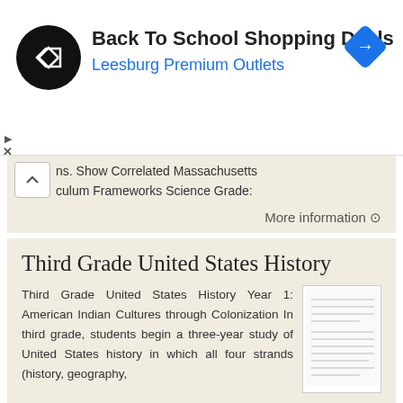[Figure (other): Advertisement banner: Back To School Shopping Deals at Leesburg Premium Outlets, with circular logo and blue diamond navigation icon]
ns. Show Correlated Massachusetts culum Frameworks Science Grade:
More information →
Third Grade United States History
Third Grade United States History Year 1: American Indian Cultures through Colonization In third grade, students begin a three-year study of United States history in which all four strands (history, geography,
More information →
Minnesota K-12 Academic Standards in Social Studies, Grade 4: Geography of